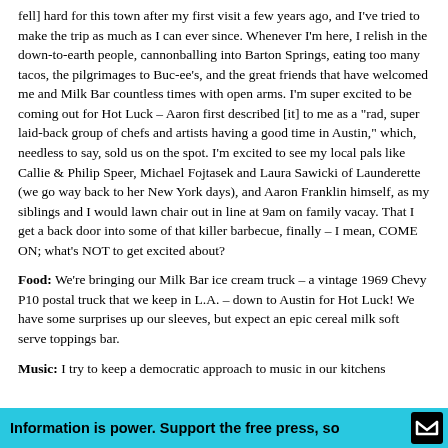fell] hard for this town after my first visit a few years ago, and I've tried to make the trip as much as I can ever since. Whenever I'm here, I relish in the down-to-earth people, cannonballing into Barton Springs, eating too many tacos, the pilgrimages to Buc-ee's, and the great friends that have welcomed me and Milk Bar countless times with open arms. I'm super excited to be coming out for Hot Luck – Aaron first described [it] to me as a "rad, super laid-back group of chefs and artists having a good time in Austin," which, needless to say, sold us on the spot. I'm excited to see my local pals like Callie & Philip Speer, Michael Fojtasek and Laura Sawicki of Launderette (we go way back to her New York days), and Aaron Franklin himself, as my siblings and I would lawn chair out in line at 9am on family vacay. That I get a back door into some of that killer barbecue, finally – I mean, COME ON; what's NOT to get excited about?
Food: We're bringing our Milk Bar ice cream truck – a vintage 1969 Chevy P10 postal truck that we keep in L.A. – down to Austin for Hot Luck! We have some surprises up our sleeves, but expect an epic cereal milk soft serve toppings bar.
Music: I try to keep a democratic approach to music in our kitchens
Information is power. Support the free press, so